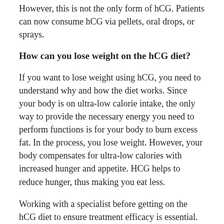However, this is not the only form of hCG. Patients can now consume hCG via pellets, oral drops, or sprays.
How can you lose weight on the hCG diet?
If you want to lose weight using hCG, you need to understand why and how the diet works. Since your body is on ultra-low calorie intake, the only way to provide the necessary energy you need to perform functions is for your body to burn excess fat. In the process, you lose weight. However, your body compensates for ultra-low calories with increased hunger and appetite. HCG helps to reduce hunger, thus making you eat less.
Working with a specialist before getting on the hCG diet to ensure treatment efficacy is essential. For example, you need to know specific rules to the diet, including the crucial steps to follow. The first step of the hCG diet is the loading phase, where you begin taking hCG injections while eating a calorie surplus. This phase only takes two days.